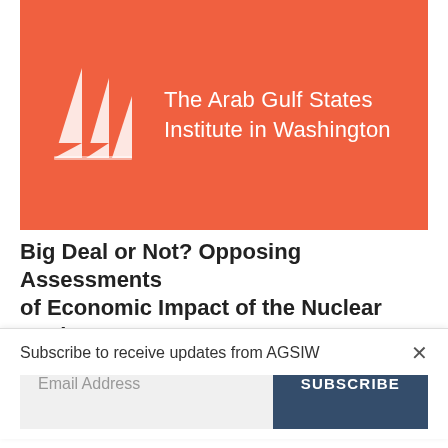[Figure (logo): The Arab Gulf States Institute in Washington logo — orange/salmon banner with white geometric sail shapes and white text]
Big Deal or Not? Opposing Assessments of Economic Impact of the Nuclear Deal
Subscribe to receive updates from AGSIW
Email Address
SUBSCRIBE